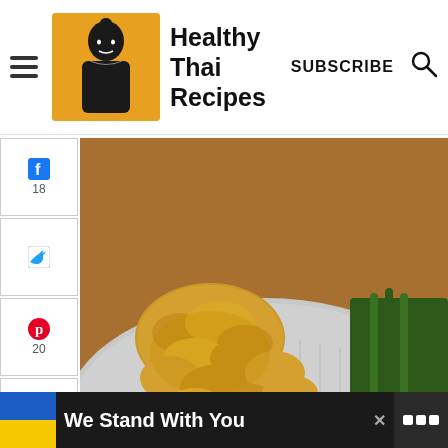Healthy Thai Recipes — SUBSCRIBE
[Figure (photo): Thai Peanut Chicken served on a silver platter with sautéed asparagus]
Thai Peanut Chicken Served with Saute Asparagus
18 (Facebook shares), 20 (Pinterest saves), 1 (like)
38 SHARES
40
WHAT'S NEXT → Thai Chopped Salad
We Stand With You